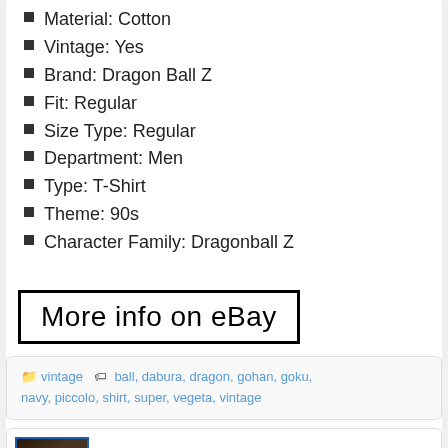Material: Cotton
Vintage: Yes
Brand: Dragon Ball Z
Fit: Regular
Size Type: Regular
Department: Men
Type: T-Shirt
Theme: 90s
Character Family: Dragonball Z
More info on eBay
vintage   ball, dabura, dragon, gohan, goku, navy, piccolo, shirt, super, vegeta, vintage
[Figure (photo): Thumbnail photo of a dark vintage Dragon Ball Z t-shirt with gold graphic print]